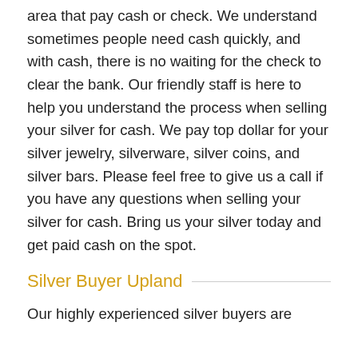area that pay cash or check. We understand sometimes people need cash quickly, and with cash, there is no waiting for the check to clear the bank. Our friendly staff is here to help you understand the process when selling your silver for cash. We pay top dollar for your silver jewelry, silverware, silver coins, and silver bars. Please feel free to give us a call if you have any questions when selling your silver for cash. Bring us your silver today and get paid cash on the spot.
Silver Buyer Upland
Our highly experienced silver buyers are